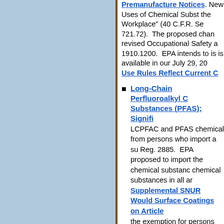Premanufacture Notices. New Uses of Chemical Subst the Workplace" (40 C.F.R. Se 721.72). The proposed chan revised Occupational Safety a 1910.1200. EPA intends to is is available in our July 29, 20
Long-Chain Perfluoroalkyl C Substances (PFAS); Signifi LCPFAC and PFAS chemical from persons who import a su Reg. 2885. EPA proposed to import the chemical substanc chemical substances in all ar Supplemental SNUR Would Surface Coatings on Article the exemption for persons wh coatings on articles. EPA int
Decabromodiphenyl Ether (PBT) Chemicals under TSC under Section 6(a) for certain Work Plan. EPA states that it